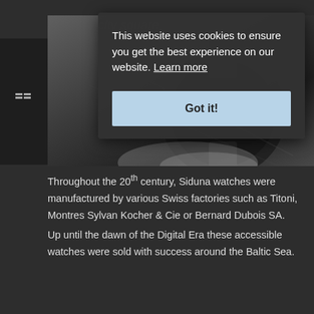[Figure (photo): Partial view of a watch with dark tones, partially obscured by cookie consent overlay]
This website uses cookies to ensure you get the best experience on our website. Learn more
Got it!
Throughout the 20th century, Siduna watches were manufactured by various Swiss factories such as Titoni, Montres Sylvan Kocher & Cie or Bernard Dubois SA.
Up until the dawn of the Digital Era these accessible watches were sold with success around the Baltic Sea.